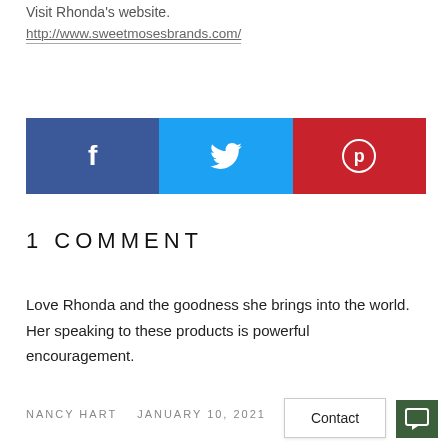Visit Rhonda's website.
http://www.sweetmosesbrands.com/
[Figure (other): Social share buttons: Facebook (blue), Twitter (light blue), Pinterest (red)]
1 COMMENT
Love Rhonda and the goodness she brings into the world. Her speaking to these products is powerful encouragement.
NANCY HART   JANUARY 10, 2021